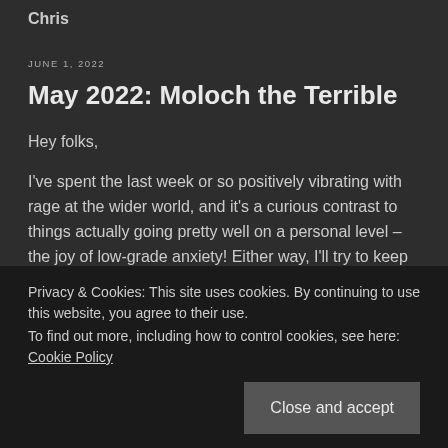Chris
JUNE 1, 2022
May 2022: Moloch the Terrible
Hey folks,
I've spent the last week or so positively vibrating with rage at the wider world, and it's a curious contrast to things actually going pretty well on a personal level – the joy of low-grade anxiety! Either way, I'll try to keep myself fairly grounded for this month's newsletter.
Privacy & Cookies: This site uses cookies. By continuing to use this website, you agree to their use.
To find out more, including how to control cookies, see here: Cookie Policy
Close and accept